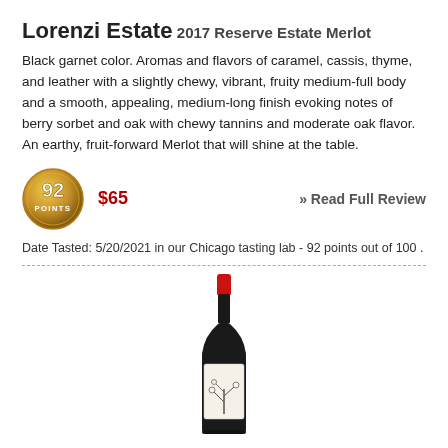Lorenzi Estate
2017 Reserve Estate Merlot
Black garnet color. Aromas and flavors of caramel, cassis, thyme, and leather with a slightly chewy, vibrant, fruity medium-full body and a smooth, appealing, medium-long finish evoking notes of berry sorbet and oak with chewy tannins and moderate oak flavor. An earthy, fruit-forward Merlot that will shine at the table.
[Figure (other): Gold circular badge with '92 POINTS' text]
$65
» Read Full Review
Date Tasted: 5/20/2021 in our Chicago tasting lab - 92 points out of 100 .
[Figure (photo): Wine bottle with red cap and illustrated label for Lorenzi Estate 2017 Reserve Estate Merlot]